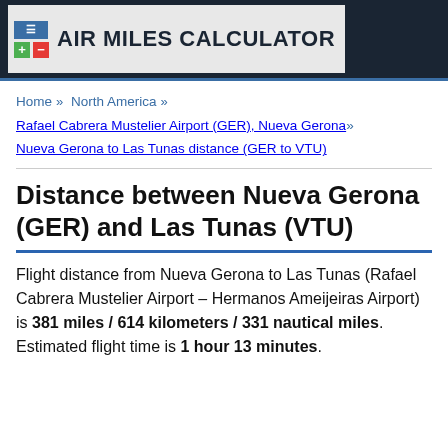AIR MILES CALCULATOR
Home » North America »
Rafael Cabrera Mustelier Airport (GER), Nueva Gerona »
Nueva Gerona to Las Tunas distance (GER to VTU)
Distance between Nueva Gerona (GER) and Las Tunas (VTU)
Flight distance from Nueva Gerona to Las Tunas (Rafael Cabrera Mustelier Airport – Hermanos Ameijeiras Airport) is 381 miles / 614 kilometers / 331 nautical miles. Estimated flight time is 1 hour 13 minutes.